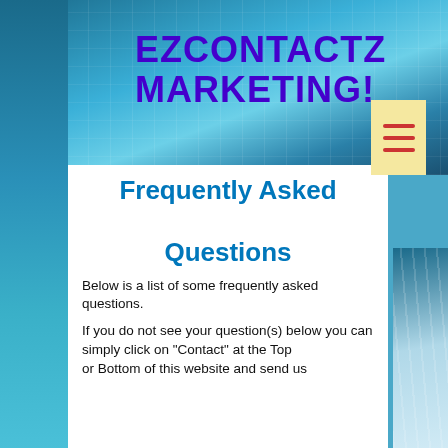EZCONTACTZ MARKETING!
[Figure (screenshot): Hamburger menu icon with three horizontal red lines on a yellow/cream background]
Frequently Asked Questions
Below is a list of some frequently asked questions.
If you do not see your question(s) below you can simply click on "Contact" at the Top or Bottom of this website and send us